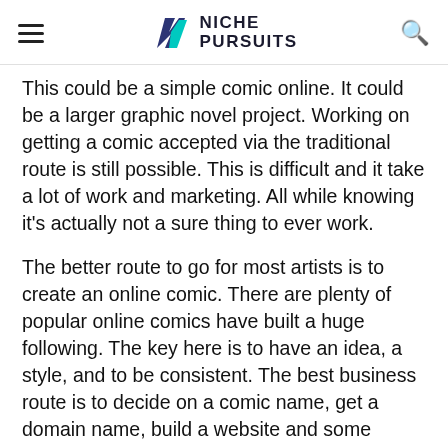Niche Pursuits
This could be a simple comic online. It could be a larger graphic novel project. Working on getting a comic accepted via the traditional route is still possible. This is difficult and it take a lot of work and marketing. All while knowing it's actually not a sure thing to ever work.
The better route to go for most artists is to create an online comic. There are plenty of popular online comics have built a huge following. The key here is to have an idea, a style, and to be consistent. The best business route is to decide on a comic name, get a domain name, build a website and some cheap but reliable hosting (we recommend